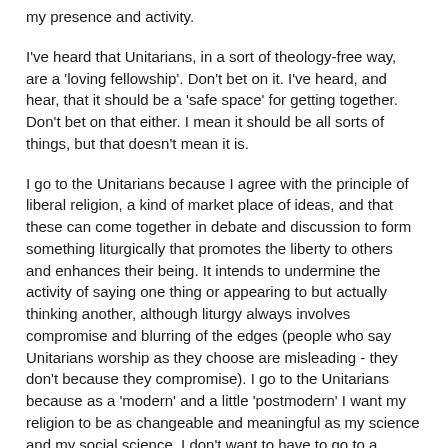my presence and activity.
I've heard that Unitarians, in a sort of theology-free way, are a 'loving fellowship'. Don't bet on it. I've heard, and hear, that it should be a 'safe space' for getting together. Don't bet on that either. I mean it should be all sorts of things, but that doesn't mean it is.
I go to the Unitarians because I agree with the principle of liberal religion, a kind of market place of ideas, and that these can come together in debate and discussion to form something liturgically that promotes the liberty to others and enhances their being. It intends to undermine the activity of saying one thing or appearing to but actually thinking another, although liturgy always involves compromise and blurring of the edges (people who say Unitarians worship as they choose are misleading - they don't because they compromise). I go to the Unitarians because as a 'modern' and a little 'postmodern' I want my religion to be as changeable and meaningful as my science and my social science. I don't want to have to go to a museum of thought and pretend. I am very anti Postliberalism and Radical